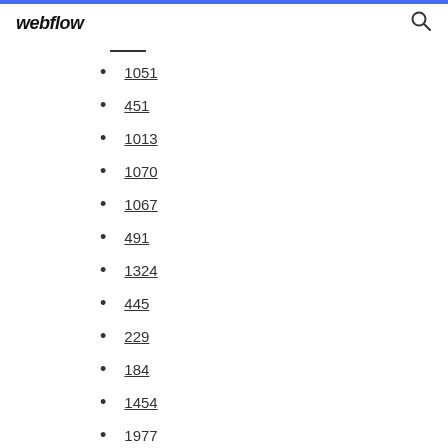webflow
1051
451
1013
1070
1067
491
1324
445
229
184
1454
1977